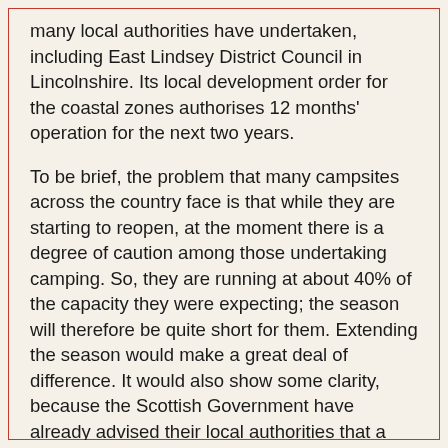many local authorities have undertaken, including East Lindsey District Council in Lincolnshire. Its local development order for the coastal zones authorises 12 months' operation for the next two years.
To be brief, the problem that many campsites across the country face is that while they are starting to reopen, at the moment there is a degree of caution among those undertaking camping. So, they are running at about 40% of the capacity they were expecting; the season will therefore be quite short for them. Extending the season would make a great deal of difference. It would also show some clarity, because the Scottish Government have already advised their local authorities that a
“temporary relaxation of planning controls will